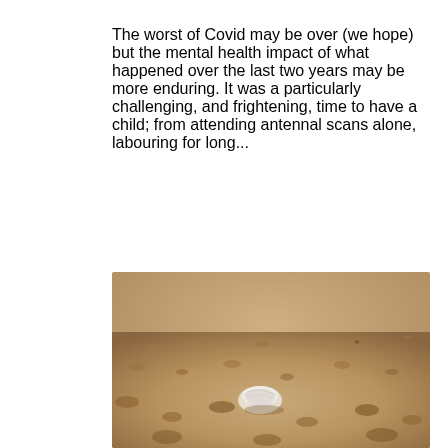The worst of Covid may be over (we hope) but the mental health impact of what happened over the last two years may be more enduring. It was a particularly challenging, and frightening, time to have a child; from attending antennal scans alone, labouring for long...
[Figure (photo): A close-up photograph of sandy beach surface with a small white shell or piece of debris resting on the sand. The image is taken at a low angle, with shallow depth of field blurring the background sand.]